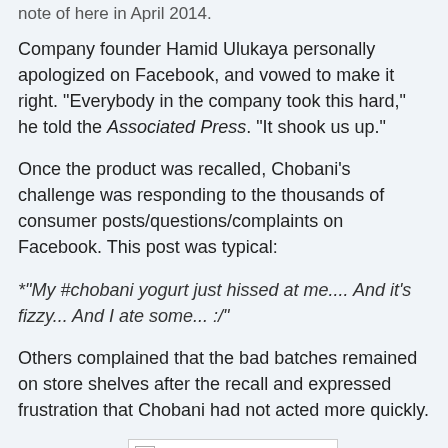note of here in April 2014.
Company founder Hamid Ulukaya personally apologized on Facebook, and vowed to make it right. "Everybody in the company took this hard," he told the Associated Press. "It shook us up."
Once the product was recalled, Chobani’s challenge was responding to the thousands of consumer posts/questions/complaints on Facebook. This post was typical:
*“My #chobani yogurt just hissed at me.... And it’s fizzy... And I ate some... :/”
Others complained that the bad batches remained on store shelves after the recall and expressed frustration that Chobani had not acted more quickly.
[Figure (photo): Broken/unloaded image placeholder at bottom of page]